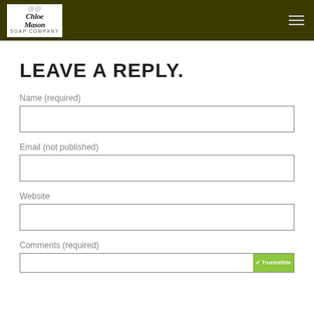Chloe Mason Soap Company
LEAVE A REPLY.
Name (required)
Email (not published)
Website
Comments (required)